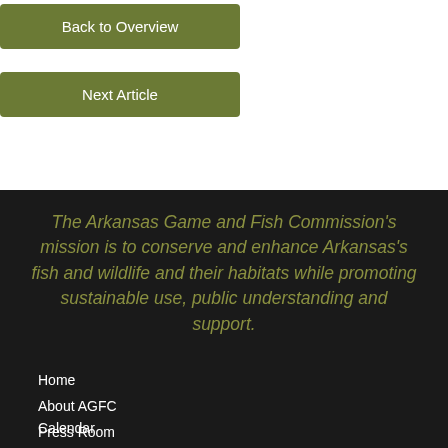Back to Overview
Next Article
The Arkansas Game and Fish Commission's mission is to conserve and enhance Arkansas's fish and wildlife and their habitats while promoting sustainable use, public understanding and support.
Home
About AGFC
Press Room
RFP and Bid Notices
Surveys
Calendar
Contact AGFC